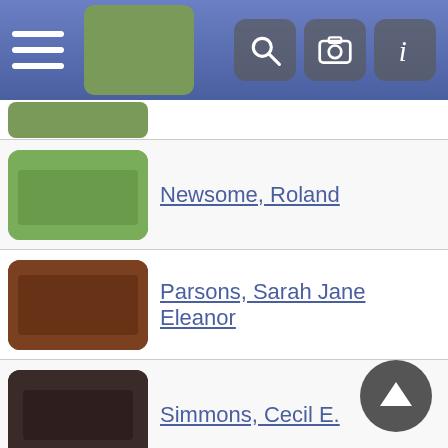[Figure (screenshot): Mobile app navigation bar with hamburger menu icon on the left and search, camera, and info icons on the right, on a blue/purple gradient background]
Newsome, Roland
Parsons, Sarah Jane Eleanor
Simmons, Cecil E.
Simmons, Webster
Statham, Rosa Lavada
Stringfellow, George
Stringfellow, Violet Irene Newsome